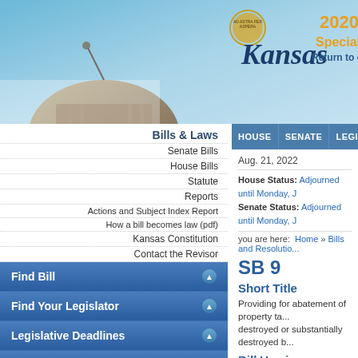[Figure (screenshot): Kansas state government website header with capitol building background, Kansas logo, and '2020 Special S...' text with 'Return to cu...' subtitle]
HOUSE   SENATE   LEGISLATORS
Bills & Laws
Senate Bills
House Bills
Statute
Reports
Actions and Subject Index Report
How a bill becomes law (pdf)
Kansas Constitution
Contact the Revisor
Find Bill
Find Your Legislator
Legislative Deadlines
Current Events
Statute
Legislative Resources
Aug. 21, 2022
House Status: Adjourned until Monday, J
Senate Status: Adjourned until Monday, J
you are here:  Home » Bills and Resolutio...
SB 9
Short Title
Providing for abatement of property ta... destroyed or substantially destroyed b...
Bill Versions
| Version |
| --- |
| As introduced |
Bill History